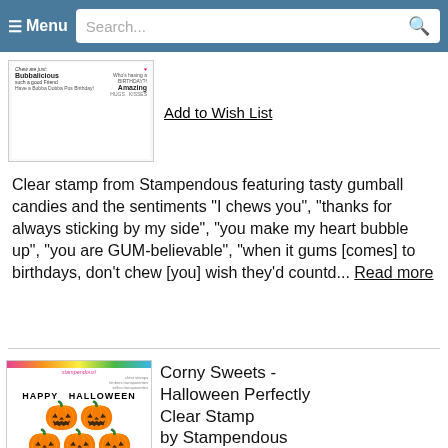≡ Menu  Search...
[Figure (photo): Clear stamp sheet with gumball/bubble gum sentiments and heart graphic from Stampendous]
Add to Wish List
Clear stamp from Stampendous featuring tasty gumball candies and the sentiments "I chews you", "thanks for always sticking by my side", "you make my heart bubble up", "you are GUM-believable", "when it gums [comes] to birthdays, don't chew [you] wish they'd countd... Read more
[Figure (photo): Corny Sweets Halloween clear stamp sheet with pumpkins, ghost, candy corn, and Halloween sentiments from Stampendous]
Corny Sweets - Halloween Perfectly Clear Stamp by Stampendous
$15.99 $12.79
Add to Cart
Add to Wish List